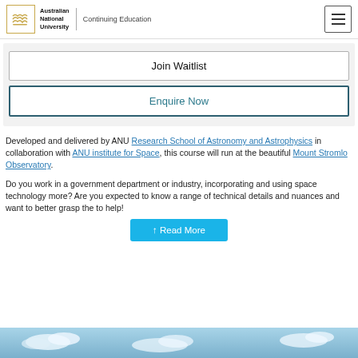Australian National University | Continuing Education
Join Waitlist
Enquire Now
Developed and delivered by ANU Research School of Astronomy and Astrophysics in collaboration with ANU institute for Space, this course will run at the beautiful Mount Stromlo Observatory.
Do you work in a government department or industry, incorporating and using space technology more? Are you expected to know a range of technical details and nuances and want to better grasp the... to help!
↑ Read More
[Figure (photo): Blue sky with clouds, bottom strip of the page]